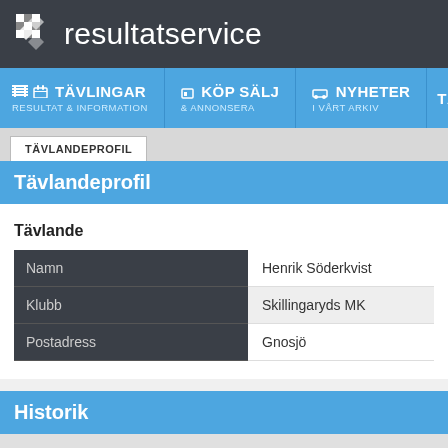resultatservice
[Figure (logo): Checkered flag logo icon for resultatservice]
TÄVLINGAR RESULTAT & INFORMATION | KÖP SÄLJ & ANNONSERA | NYHETER I VÅRT ARKIV | TÄV
TÄVLANDEPROFIL
Tävlandeprofil
Tävlande
|  |  |
| --- | --- |
| Namn | Henrik Söderkvist |
| Klubb | Skillingaryds MK |
| Postadress | Gnosjö |
Historik